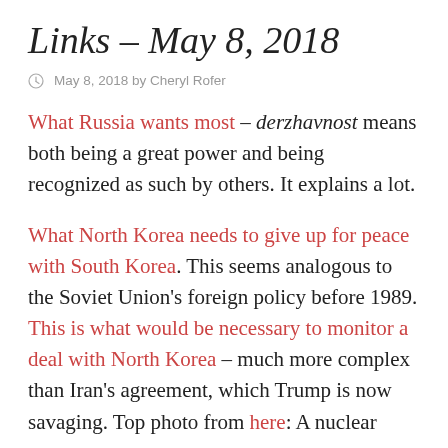Links – May 8, 2018
May 8, 2018 by Cheryl Rofer
What Russia wants most – derzhavnost means both being a great power and being recognized as such by others. It explains a lot.
What North Korea needs to give up for peace with South Korea. This seems analogous to the Soviet Union's foreign policy before 1989. This is what would be necessary to monitor a deal with North Korea – much more complex than Iran's agreement, which Trump is now savaging. Top photo from here: A nuclear